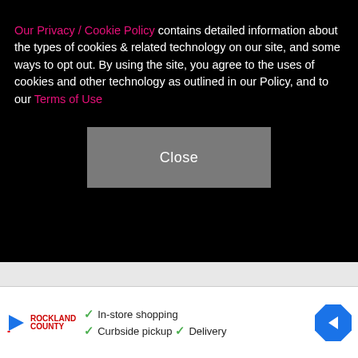Our Privacy / Cookie Policy contains detailed information about the types of cookies & related technology on our site, and some ways to opt out. By using the site, you agree to the uses of cookies and other technology as outlined in our Policy, and to our Terms of Use
[Figure (other): A gray 'Close' button centered in the black cookie banner overlay]
Anna has since moved on with cinematographer Michael Barrett.
[Figure (screenshot): Bottom advertisement banner showing play icon, newspaper logo, checkmarks for In-store shopping, Curbside pickup, Delivery, and a blue navigation arrow icon]